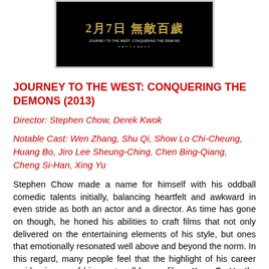[Figure (photo): Movie poster for Journey to the West: Conquering the Demons (2013), dark background with Chinese characters in gold and film credits at bottom]
JOURNEY TO THE WEST: CONQUERING THE DEMONS (2013)
Director: Stephen Chow, Derek Kwok
Notable Cast: Wen Zhang, Shu Qi, Show Lo Chi-Cheung, Huang Bo, Jiro Lee Sheung-Ching, Chen Bing-Qiang, Cheng Si-Han, Xing Yu
Stephen Chow made a name for himself with his oddball comedic talents initially, balancing heartfelt and awkward in even stride as both an actor and a director. As time has gone on though, he honed his abilities to craft films that not only delivered on the entertaining elements of his style, but ones that emotionally resonated well above and beyond the norm. In this regard, many people feel that the highlight of his career resides in one of his most well-known films, Kung Fu Hustle, but after re-watching his epic franchise launch pad